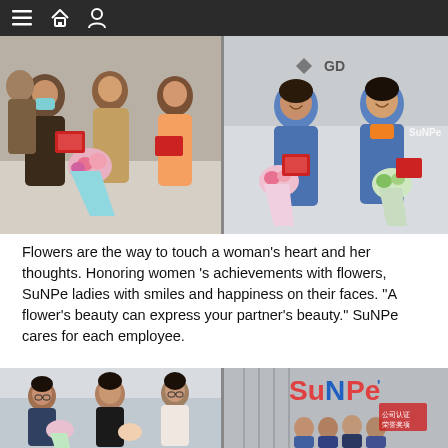Navigation bar with menu, home, and user icons
[Figure (photo): Left photo: Women exchanging red envelope gifts and flower bouquets indoors]
[Figure (photo): Right photo: Two women in blue uniforms smiling and holding flower bouquets and red envelopes in front of a company logo sign]
Flowers are the way to touch a woman’s heart and her thoughts. Honoring women ’s achievements with flowers, SuNPe ladies with smiles and happiness on their faces. “A flower’s beauty can express your partner’s beauty.” SuNPe cares for each employee.
[Figure (photo): Bottom left photo: Three young women standing together, one wearing glasses, holding flower bouquets]
[Figure (photo): Bottom right photo: Group of women standing in front of SuNPe company logo wall]